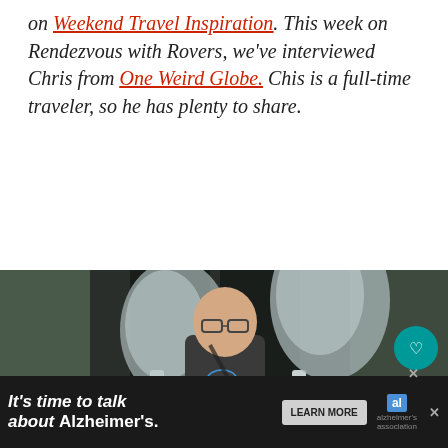on Weekend Travel Inspiration. This week on Rendezvous with Rovers, we've interviewed Chris from One Weird Globe. Chis is a full-time traveler, so he has plenty to share.
[Figure (photo): A man wearing glasses and a dark t-shirt with a jellyfish graphic stands between two large oversized silver spoons in what appears to be an outdoor market or street scene. Thai text is visible on a sign in the background. Social sharing icons (heart, count '1', share) are overlaid on the right side of the image.]
It's time to talk about Alzheimer's.  LEARN MORE  [Alzheimer's Association logo]